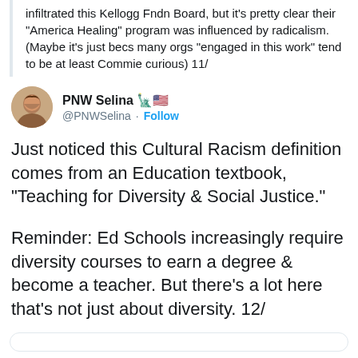infiltrated this Kellogg Fndn Board, but it's pretty clear their "America Healing" program was influenced by radicalism. (Maybe it's just becs many orgs "engaged in this work" tend to be at least Commie curious) 11/
PNW Selina 🗽🇺🇸 @PNWSelina · Follow
Just noticed this Cultural Racism definition comes from an Education textbook, "Teaching for Diversity & Social Justice."
Reminder: Ed Schools increasingly require diversity courses to earn a degree & become a teacher. But there's a lot here that's not just about diversity. 12/